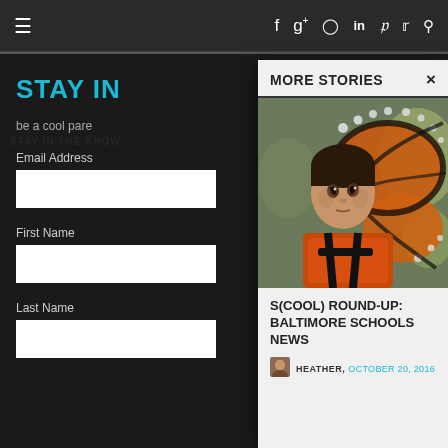≡   f  g+  ◎  in  𝗣  𝗧  🔍
STAY IN
be a cool pare
Email Address
First Name
Last Name
MORE STORIES
[Figure (photo): Child wearing an orange and black monarch butterfly costume with wings, at an outdoor event]
S(COOL) ROUND-UP: BALTIMORE SCHOOLS NEWS
HEATHER, OCTOBER 20, 2016